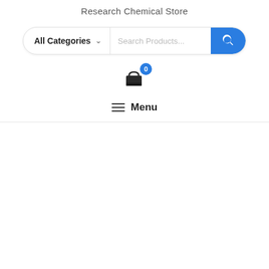Research Chemical Store
[Figure (screenshot): Search bar with 'All Categories' dropdown and 'Search Products...' placeholder, blue search button with magnifying glass icon]
[Figure (infographic): Shopping cart icon with blue badge showing '0']
≡ Menu
[Figure (infographic): Floating right sidebar: shopping cart icon with blue '0' badge, user/account icon, and blue scroll-to-top button with upward arrow]